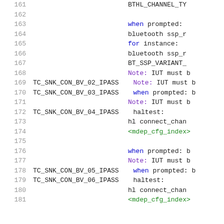Code listing lines 161-181 showing test case identifiers, PASS results, and code/comments in a monospace syntax-highlighted format.